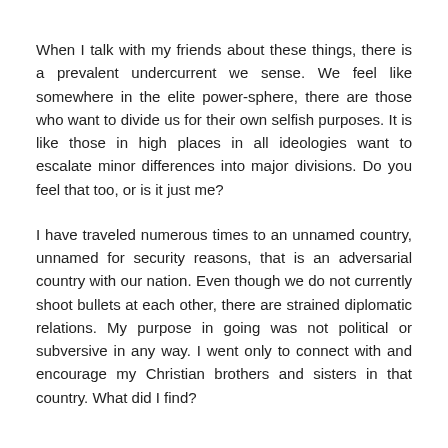When I talk with my friends about these things, there is a prevalent undercurrent we sense. We feel like somewhere in the elite power-sphere, there are those who want to divide us for their own selfish purposes. It is like those in high places in all ideologies want to escalate minor differences into major divisions. Do you feel that too, or is it just me?
I have traveled numerous times to an unnamed country, unnamed for security reasons, that is an adversarial country with our nation. Even though we do not currently shoot bullets at each other, there are strained diplomatic relations. My purpose in going was not political or subversive in any way. I went only to connect with and encourage my Christian brothers and sisters in that country. What did I find?